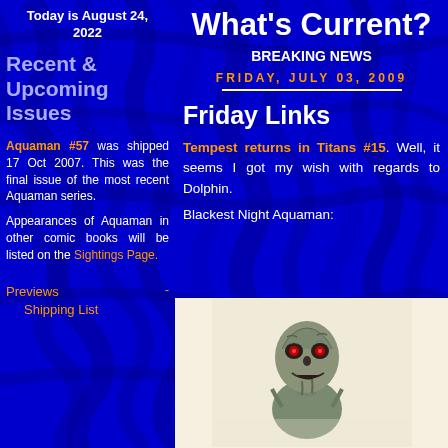Today is August 24, 2022
What's Current?
Recent & Upcoming Issues
Aquaman #57 was shipped 17 Oct 2007. This was the final issue of the most recent Aquaman series.
Appearances of Aquaman in other comic books will be listed on the Sightings Page.
Previews - Shipping List
BREAKING NEWS
FRIDAY, JULY 03, 2009
Friday Links
Tempest returns in Titans #15. Well, it seems I got my wish with regards to Dolphin.
Blackest Night Aquaman:
[Figure (illustration): Illustration of a zombie-like Aquaman character with gray-green skin, red glowing eyes, and a decayed appearance]